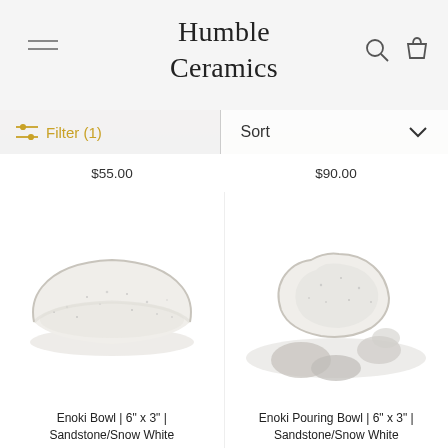Humble Ceramics
Filter (1)
Sort
$55.00
$90.00
[Figure (photo): Enoki Bowl ceramic product photo - white speckled bowl on white background]
[Figure (photo): Enoki Pouring Bowl ceramic product photo - white bowl with river stones on white background]
Enoki Bowl | 6" x 3" | Sandstone/Snow White
Enoki Pouring Bowl | 6" x 3" | Sandstone/Snow White